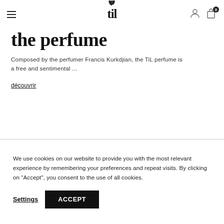TiL — navigation header with hamburger menu, logo, user icon, cart icon (0)
the perfume
Composed by the perfumer Francis Kurkdjian, the TiL perfume is a free and sentimental ...
découvrir
We use cookies on our website to provide you with the most relevant experience by remembering your preferences and repeat visits. By clicking on "Accept", you consent to the use of all cookies.
Settings   ACCEPT